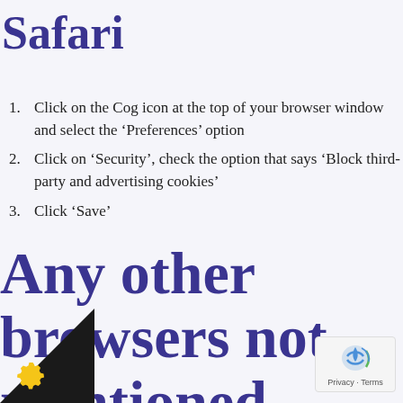Safari
Click on the Cog icon at the top of your browser window and select the ‘Preferences’ option
Click on ‘Security’, check the option that says ‘Block third-party and advertising cookies’
Click ‘Save’
Any other browsers not mentioned including Smart Phones and MACs